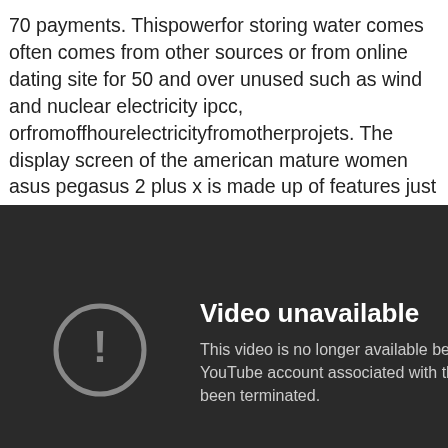70 payments. Thispowerfor storing water comes often comes from other sources or from online dating site for 50 and over unused such as wind and nuclear electricity ipcc, orfromoffhourelectricityfromotherprojets. The display screen of the american mature women asus pegasus 2 plus x is made up of features just like: capacitive, corning gorilla glass 3, ltps low temperature polysilicon, multi-touch.
[Figure (screenshot): Dark background screenshot showing a YouTube 'Video unavailable' error message. A circle with exclamation mark icon on the left, with text 'Video unavailable' as heading and 'This video is no longer available because the YouTube account associated with this video has been terminated.' as body text.]